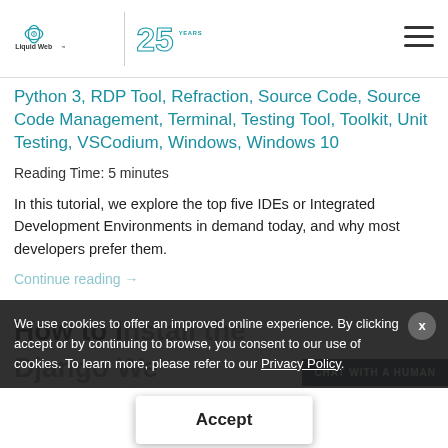Liquid Web 25 Years
Python 3, RDP Tool, Refraction, Source Code, Source Code Management, Terminal, Testing Tool, Toolkit, Unit Testing, VSCodium, Windows, Windows 10
Reading Time: 5 minutes
In this tutorial, we explore the top five IDEs or Integrated Development Environments in demand today, and why most developers prefer them.
Continue reading →
We use cookies to offer an improved online experience. By clicking accept or by continuing to browse, you consent to our use of cookies. To learn more, please refer to our Privacy Policy.
How to Install the Django We...
CHAT WITH A HUMAN